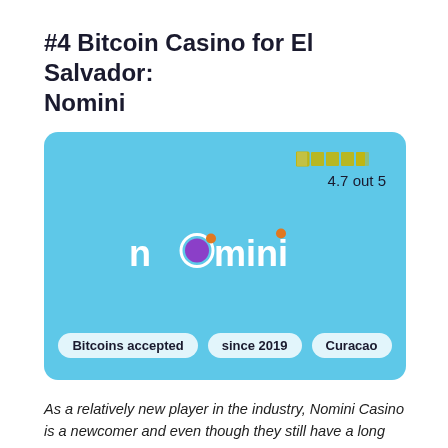#4 Bitcoin Casino for El Salvador: Nomini
[Figure (infographic): Light blue card with Nomini casino logo in white text with purple and orange circular accents, star rating icons showing 4.7 out of 5 in top right, and three tags at bottom: 'Bitcoins accepted', 'since 2019', 'Curacao']
As a relatively new player in the industry, Nomini Casino is a newcomer and even though they still have a long way to go, some pretty impressive progress has been achieved.